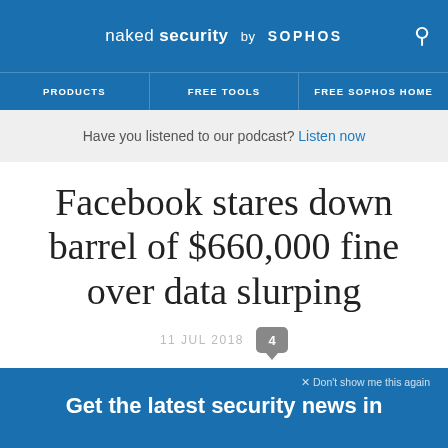naked security by SOPHOS
PRODUCTS | FREE TOOLS | FREE SOPHOS HOME
Have you listened to our podcast? Listen now
Facebook stares down barrel of $660,000 fine over data slurping
11 JUL 2018  4
Data loss, Facebook
× Don't show me this again
Get the latest security news in